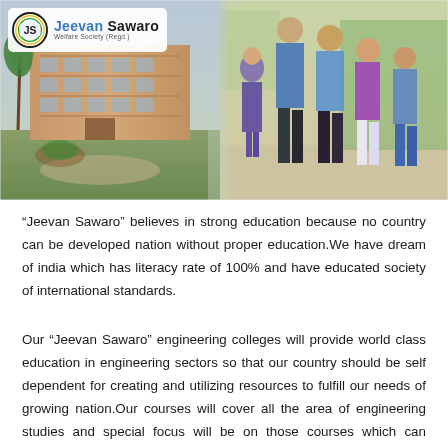[Figure (photo): Composite image: left side shows a college campus building with palm trees and garden; right side shows four college students walking together on campus grounds. Jeevan Sawaro Welfare Society logo overlaid in top-left corner.]
“Jeevan Sawaro” believes in strong education because no country can be developed nation without proper education.We have dream of india which has literacy rate of 100% and have educated society of international standards.
Our “Jeevan Sawaro” engineering colleges will provide world class education in engineering sectors so that our country should be self dependent for creating and utilizing resources to fulfill our needs of growing nation.Our courses will cover all the area of engineering studies and special focus will be on those courses which can generate immediate employment.